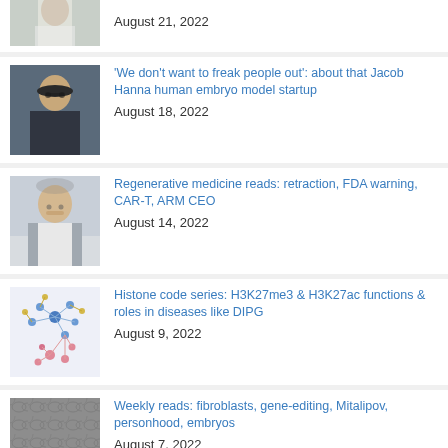[Figure (photo): Partial view of a person in white coat, cropped at top]
August 21, 2022
[Figure (photo): Man with beard and glasses in dark shirt]
'We don't want to freak people out': about that Jacob Hanna human embryo model startup
August 18, 2022
[Figure (photo): Man in glasses and grey blazer]
Regenerative medicine reads: retraction, FDA warning, CAR-T, ARM CEO
August 14, 2022
[Figure (illustration): Network diagram with blue, yellow and pink nodes]
Histone code series: H3K27me3 & H3K27ac functions & roles in diseases like DIPG
August 9, 2022
[Figure (photo): Microscopy image of cells]
Weekly reads: fibroblasts, gene-editing, Mitalipov, personhood, embryos
August 7, 2022